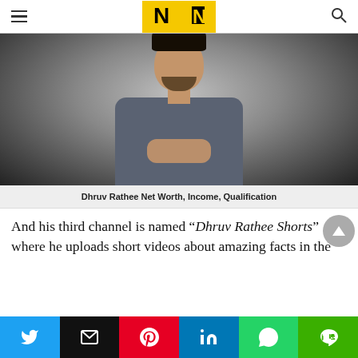N (logo) — navigation bar
[Figure (photo): Photo of Dhruv Rathee, a young man with dark hair and beard, wearing a grey t-shirt, hands clasped together, against a grey gradient background.]
Dhruv Rathee Net Worth, Income, Qualification
And his third channel is named “Dhruv Rathee Shorts” where he uploads short videos about amazing facts in the
Social share buttons: Twitter, Email, Pinterest, LinkedIn, WhatsApp, Line